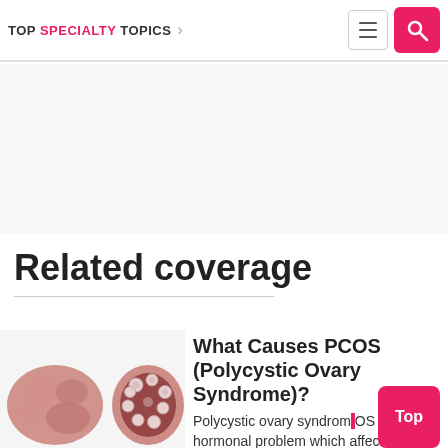TOP SPECIALTY TOPICS
Related coverage
[Figure (illustration): Medical illustration of polycystic ovary showing cysts]
What Causes PCOS (Polycystic Ovary Syndrome)?
Polycystic ovary syndrome (PCOS) is a hormonal problem which affects